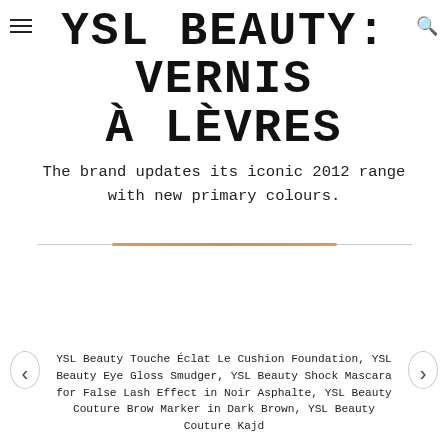YSL BEAUTY: VERNIS À LÈVRES
The brand updates its iconic 2012 range with new primary colours.
[Figure (photo): Decorative divider with a thick warm-toned center line flanked by thin grey lines, followed by a large white/empty image area showing what appears to be a cosmetic product photo (mostly white/blank in excerpt)]
YSL Beauty Touche Éclat Le Cushion Foundation, YSL Beauty Eye Gloss Smudger, YSL Beauty Shock Mascara for False Lash Effect in Noir Asphalte, YSL Beauty Couture Brow Marker in Dark Brown, YSL Beauty Couture Kajd